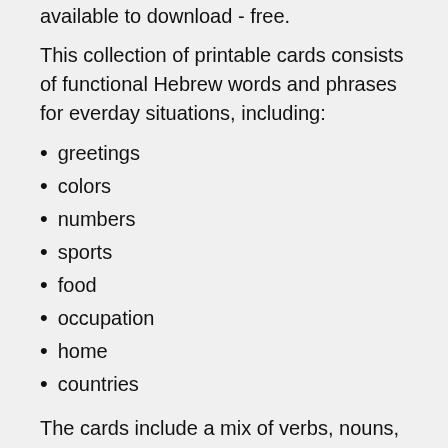available to download - free.
This collection of printable cards consists of functional Hebrew words and phrases for everday situations, including:
greetings
colors
numbers
sports
food
occupation
home
countries
The cards include a mix of verbs, nouns, pronouns and adjectives. Download them here, and be sure to print double-sided for use as flash cards, with Hebrew on one side and English on the other. They